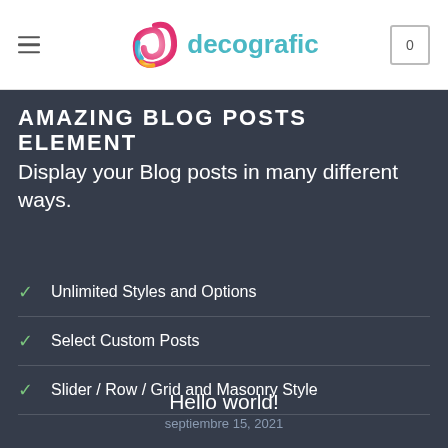decografic — navigation header with menu icon, logo, and cart
AMAZING BLOG POSTS ELEMENT
Display your Blog posts in many different ways.
Unlimited Styles and Options
Select Custom Posts
Slider / Row / Grid and Masonry Style
Hello world!
septiembre 15, 2021